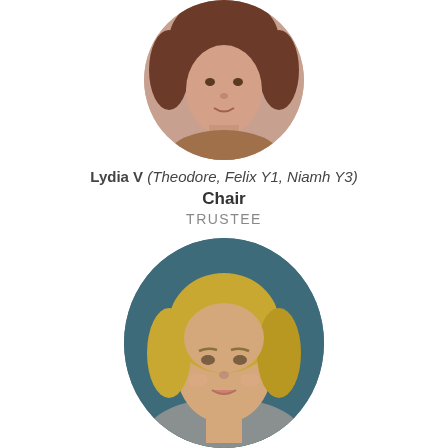[Figure (photo): Circular cropped headshot of a woman with curly brown hair, partially visible (cropped at top of page)]
Lydia V (Theodore, Felix Y1, Niamh Y3)
Chair
TRUSTEE
[Figure (photo): Circular cropped headshot of a woman with blonde hair and blue/teal background, partially visible (cropped at bottom of page)]